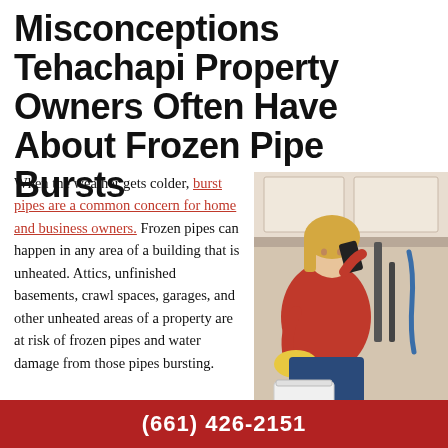Misconceptions Tehachapi Property Owners Often Have About Frozen Pipe Bursts
When the weather gets colder, burst pipes are a common concern for home and business owners. Frozen pipes can happen in any area of a building that is unheated. Attics, unfinished basements, crawl spaces, garages, and other unheated areas of a property are at risk of frozen pipes and water damage from those pipes bursting.
[Figure (photo): Woman in red sweater crouching under a sink, talking on the phone and squeezing a yellow sponge while water drips, with a white bucket on the floor]
What exactly makes these pipes
(661) 426-2151